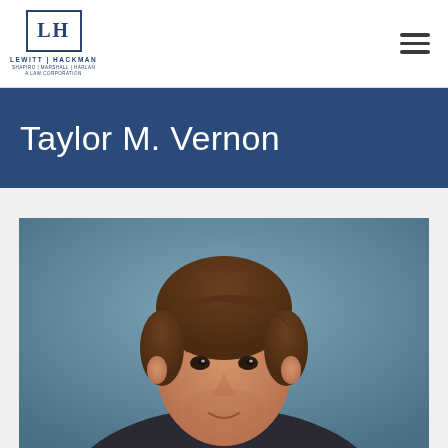Lewitt Hackman Shapiro Marshall Harlan A Law Corporation
Taylor M. Vernon
[Figure (photo): Professional headshot photo of Taylor M. Vernon, a man with brown hair, against a blue-grey studio background.]